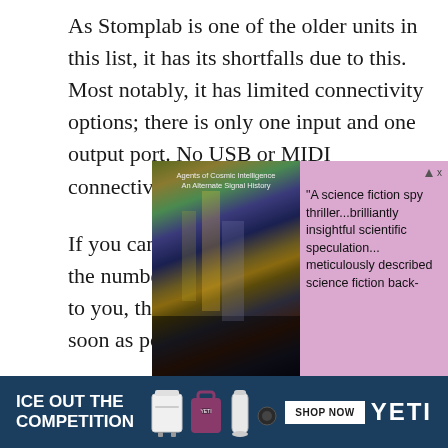As Stomplab is one of the older units in this list, it has its shortfalls due to this. Most notably, it has limited connectivity options; there is only one input and one output port. No USB or MIDI connectivity is available.
If you can overlook these flaws and only the number of presets and effects matter to you, then you should buy this pedal as soon as possible.
[Figure (screenshot): Advertisement: Science fiction spy thriller book ad with Times Square city image on the left and purple background with text on the right.]
[Figure (illustration): YETI advertisement banner: dark blue background with white text 'ICE OUT THE COMPETITION', product images (coolers, tumblers), SHOP NOW button, and YETI logo.]